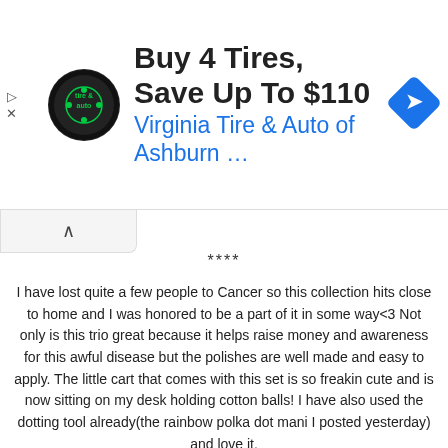[Figure (other): Advertisement banner for Virginia Tire & Auto of Ashburn with circular logo, bold headline 'Buy 4 Tires, Save Up To $110', subtitle in blue 'Virginia Tire & Auto of Ashburn …', and a blue diamond navigation icon on the right. Play and X buttons on the left edge.]
****
I have lost quite a few people to Cancer so this collection hits close to home and I was honored to be a part of it in some way<3 Not only is this trio great because it helps raise money and awareness for this awful disease but the polishes are well made and easy to apply. The little cart that comes with this set is so freakin cute and is now sitting on my desk holding cotton balls! I have also used the dotting tool already(the rainbow polka dot mani I posted yesterday) and love it.
This set is available today for $25. And as stated above, $3 of every set purchased gets donated to the American